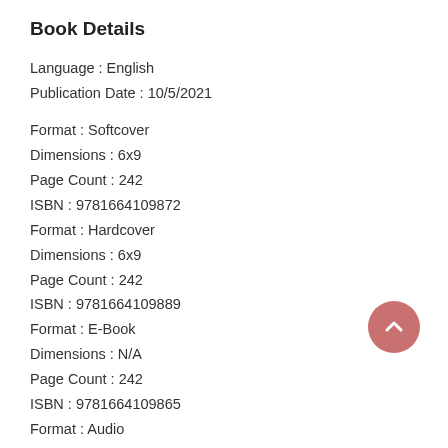Book Details
Language : English
Publication Date : 10/5/2021
Format : Softcover
Dimensions : 6x9
Page Count : 242
ISBN : 9781664109872
Format : Hardcover
Dimensions : 6x9
Page Count : 242
ISBN : 9781664109889
Format : E-Book
Dimensions : N/A
Page Count : 242
ISBN : 9781664109865
Format : Audio
Dimensions : N/A
[Figure (illustration): Salmon/rose colored circular back-to-top button with upward chevron arrow icon]